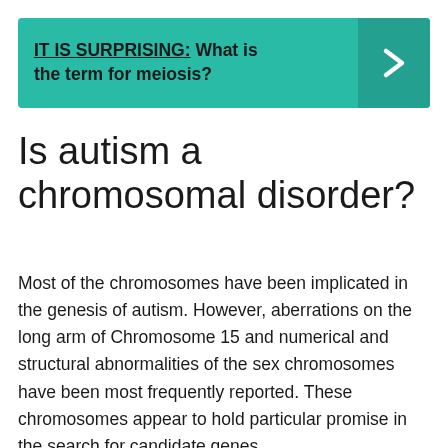[Figure (infographic): Teal banner with bold text 'IT IS SURPRISING: What is the term for meiosis?' and a right-arrow chevron on a darker teal background on the right side.]
Is autism a chromosomal disorder?
Most of the chromosomes have been implicated in the genesis of autism. However, aberrations on the long arm of Chromosome 15 and numerical and structural abnormalities of the sex chromosomes have been most frequently reported. These chromosomes appear to hold particular promise in the search for candidate genes.